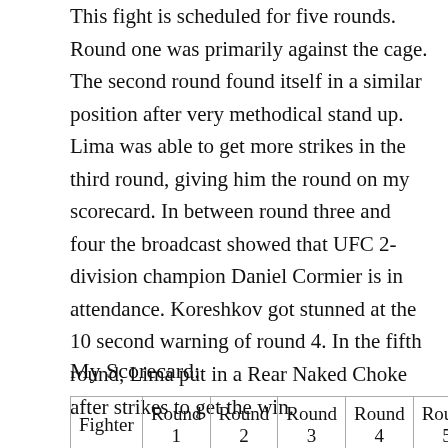This fight is scheduled for five rounds. Round one was primarily against the cage. The second round found itself in a similar position after very methodical stand up. Lima was able to get more strikes in the third round, giving him the round on my scorecard. In between round three and four the broadcast showed that UFC 2-division champion Daniel Cormier is in attendance. Koreshkov got stunned at the 10 second warning of round 4. In the fifth round, Lima put in a Rear Naked Choke after strikes to get the win.
My Scorecard:
| Fighter | Round 1 | Round 2 | Round 3 | Round 4 | Round 5 | Total |
| --- | --- | --- | --- | --- | --- | --- |